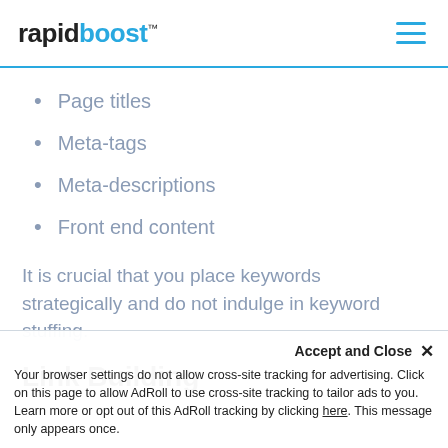rapidboost™
Page titles
Meta-tags
Meta-descriptions
Front end content
It is crucial that you place keywords strategically and do not indulge in keyword stuffing.
Link Building
Accept and Close ✕
Your browser settings do not allow cross-site tracking for advertising. Click on this page to allow AdRoll to use cross-site tracking to tailor ads to you. Learn more or opt out of this AdRoll tracking by clicking here. This message only appears once.